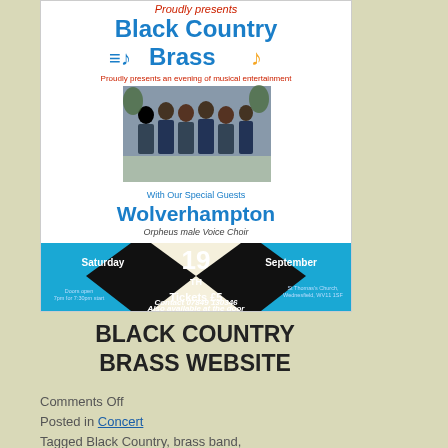[Figure (illustration): Concert flyer for Black Country Brass band presenting an evening of musical entertainment. Features brass band name in blue, a group photo of the band, special guests Wolverhampton Orpheus Male Voice Choir, date Saturday 19th September, venue St Thomas's Church Wednesfield WV11 1SF, Tickets £5, Contact 07849 130346, Also available at the door. Decorative black and blue diamond shapes.]
BLACK COUNTRY BRASS WEBSITE
Comments Off
Posted in Concert
Tagged Black Country, brass band,